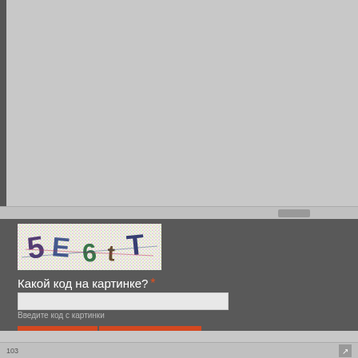[Figure (screenshot): Top gray area of a browser/application window, showing a blank content area with a left dark sidebar.]
[Figure (photo): CAPTCHA image with colorful noisy background showing characters: 5, E, 6, t, T]
Какой код на картинке? *
Введите код с картинки
СОХРАНИТЬ   ПРЕДПРОСМОТР
103